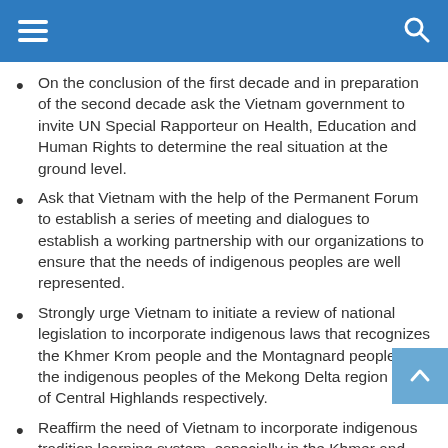Navigation menu with hamburger icon and search icon
On the conclusion of the first decade and in preparation of the second decade ask the Vietnam government to invite UN Special Rapporteur on Health, Education and Human Rights to determine the real situation at the ground level.
Ask that Vietnam with the help of the Permanent Forum to establish a series of meeting and dialogues to establish a working partnership with our organizations to ensure that the needs of indigenous peoples are well represented.
Strongly urge Vietnam to initiate a review of national legislation to incorporate indigenous laws that recognizes the Khmer Krom people and the Montagnard people as the indigenous peoples of the Mekong Delta region and of Central Highlands respectively.
Reaffirm the need of Vietnam to incorporate indigenous tradition learning system, especially in the Khmer and Degar languages into formal and informal